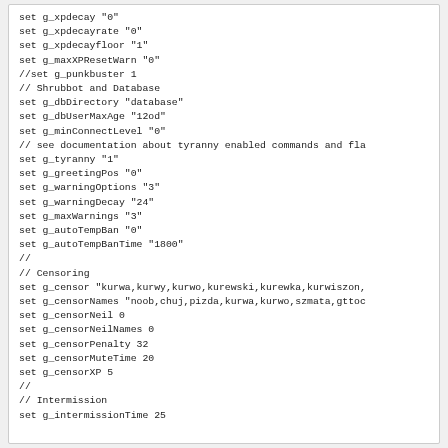set g_xpdecay "0"
set g_xpdecayrate "0"
set g_xpdecayfloor "1"
set g_maxXPResetWarn "0"
//set g_punkbuster 1
// Shrubbot and Database
set g_dbDirectory "database"
set g_dbUserMaxAge "12od"
set g_minConnectLevel "0"
// see documentation about tyranny enabled commands and fla
set g_tyranny "1"
set g_greetingPos "0"
set g_warningOptions "3"
set g_warningDecay "24"
set g_maxWarnings "3"
set g_autoTempBan "0"
set g_autoTempBanTime "1800"
//
// Censoring
set g_censor "kurwa,kurwy,kurwo,kurewski,kurewka,kurwiszon,
set g_censorNames "noob,chuj,pizda,kurwa,kurwo,szmata,gttoc
set g_censorNeil 0
set g_censorNeilNames 0
set g_censorPenalty 32
set g_censorMuteTime 20
set g_censorXP 5
//
// Intermission
set g_intermissionTime 25